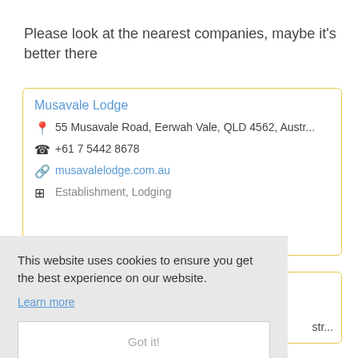Please look at the nearest companies, maybe it's better there
Musavale Lodge
55 Musavale Road, Eerwah Vale, QLD 4562, Austr...
+61 7 5442 8678
musavalelodge.com.au
Establishment, Lodging
This website uses cookies to ensure you get the best experience on our website.
Learn more
Got it!
str...